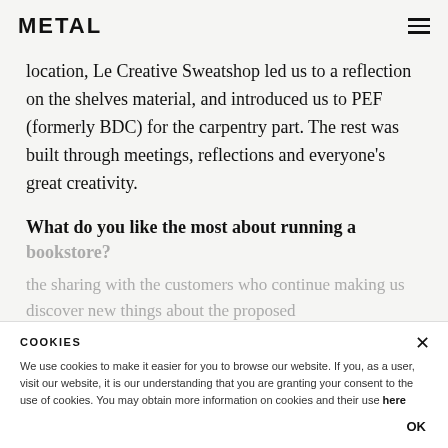METAL
location, Le Creative Sweatshop led us to a reflection on the shelves material, and introduced us to PEF (formerly BDC) for the carpentry part. The rest was built through meetings, reflections and everyone's great creativity.
What do you like the most about running a bookstore?
the sharing with the customers who continue making us discover new things about the proposed
COOKIES

We use cookies to make it easier for you to browse our website. If you, as a user, visit our website, it is our understanding that you are granting your consent to the use of cookies. You may obtain more information on cookies and their use here

OK